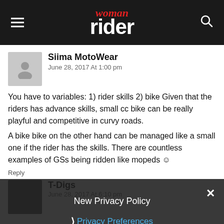woman rider
Siima MotoWear
June 28, 2017 At 1:00 pm
You have to variables: 1) rider skills 2) bike Given that the riders has advance skills, small cc bike can be really playful and competitive in curvy roads.
A bike bike on the other hand can be managed like a small one if the rider has the skills. There are countless examples of GSs being ridden like mopeds 😊
Reply
New Privacy Policy
Privacy Preferences
I Agree
T-Digs
June 28, 2017 At 6:10 pm